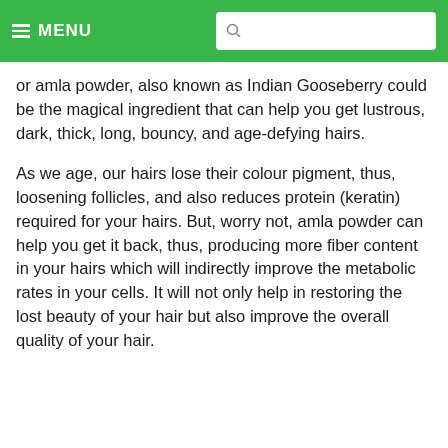MENU
or amla powder, also known as Indian Gooseberry could be the magical ingredient that can help you get lustrous, dark, thick, long, bouncy, and age-defying hairs.
As we age, our hairs lose their colour pigment, thus, loosening follicles, and also reduces protein (keratin) required for your hairs. But, worry not, amla powder can help you get it back, thus, producing more fiber content in your hairs which will indirectly improve the metabolic rates in your cells. It will not only help in restoring the lost beauty of your hair but also improve the overall quality of your hair.